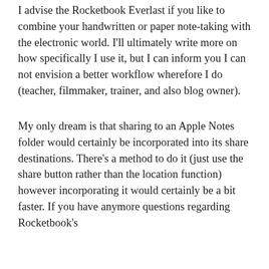I advise the Rocketbook Everlast if you like to combine your handwritten or paper note-taking with the electronic world. I'll ultimately write more on how specifically I use it, but I can inform you I can not envision a better workflow wherefore I do (teacher, filmmaker, trainer, and also blog owner).
My only dream is that sharing to an Apple Notes folder would certainly be incorporated into its share destinations. There's a method to do it (just use the share button rather than the location function) however incorporating it would certainly be a bit faster. If you have anymore questions regarding Rocketbook's